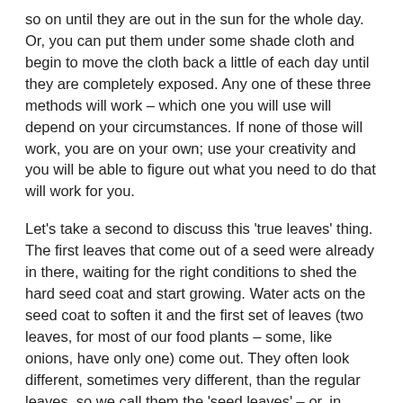so on until they are out in the sun for the whole day. Or, you can put them under some shade cloth and begin to move the cloth back a little of each day until they are completely exposed. Any one of these three methods will work – which one you will use will depend on your circumstances. If none of those will work, you are on your own; use your creativity and you will be able to figure out what you need to do that will work for you.
Let's take a second to discuss this 'true leaves' thing. The first leaves that come out of a seed were already in there, waiting for the right conditions to shed the hard seed coat and start growing. Water acts on the seed coat to soften it and the first set of leaves (two leaves, for most of our food plants – some, like onions, have only one) come out. They often look different, sometimes very different, than the regular leaves, so we call them the 'seed leaves' – or, in botanist speak, the 'cotyledons.' Plants with two seed leaves are, botanically-speaking, dicotyledons, or for us common folk, just 'dicots.' Grasses (which include bamboos, onions, lilies, and irises) have one leaf and are called 'monocots' for monocotyledons. Those of us growing from seed, need to